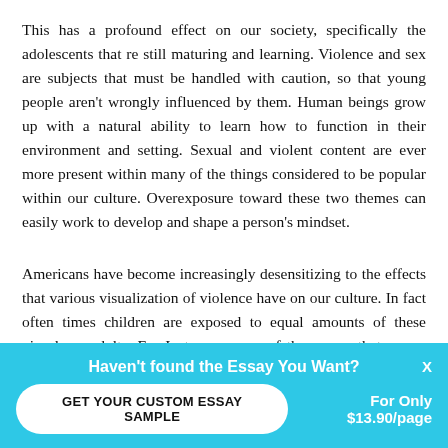This has a profound effect on our society, specifically the adolescents that re still maturing and learning. Violence and sex are subjects that must be handled with caution, so that young people aren't wrongly influenced by them. Human beings grow up with a natural ability to learn how to function in their environment and setting. Sexual and violent content are ever more present within many of the things considered to be popular within our culture. Overexposure toward these two themes can easily work to develop and shape a person's mindset.
Americans have become increasingly desensitizing to the effects that various visualization of violence have on our culture. In fact often times children are exposed to equal amounts of these visuals as adults. For Instance, many of the games that young children and teenagers play revolve around violence. Games such as Call of Duty, Halo, and Gears of War...
Haven't found the Essay You Want? GET YOUR CUSTOM ESSAY SAMPLE For Only $13.90/page